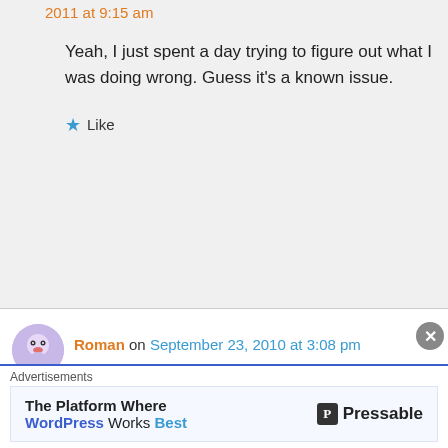2011 at 9:15 am
Yeah, I just spent a day trying to figure out what I was doing wrong. Guess it's a known issue.
Like
Roman on September 23, 2010 at 3:08 pm
ThreeDots drops trailing > symbol and preceding
Advertisements
The Platform Where WordPress Works Best